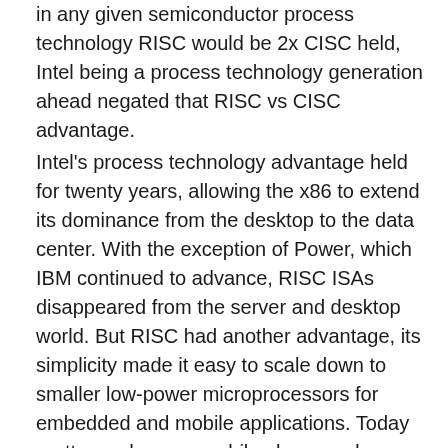in any given semiconductor process technology RISC would be 2x CISC held, Intel being a process technology generation ahead negated that RISC vs CISC advantage.
Intel's process technology advantage held for twenty years, allowing the x86 to extend its dominance from the desktop to the data center. With the exception of Power, which IBM continued to advance, RISC ISAs disappeared from the server and desktop world. But RISC had another advantage, its simplicity made it easy to scale down to smaller low-power microprocessors for embedded and mobile applications. Today pretty much every mobile phone and mainstream tablet uses a processor based on the ARM ISA.
A number of years ago ARM and its semiconductor partners began trying to bring RISC back to the server and PC markets where it was originally expected to dominate.